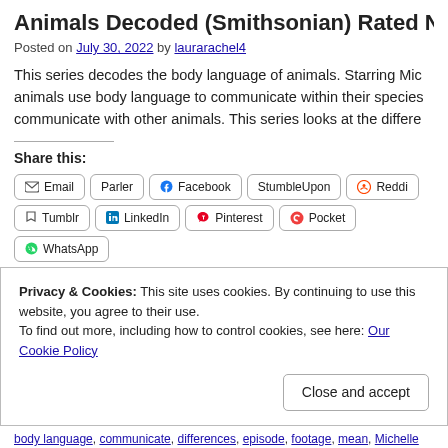Animals Decoded (Smithsonian) Rated N
Posted on July 30, 2022 by laurarachel4
This series decodes the body language of animals. Starring Mic… animals use body language to communicate within their species… communicate with other animals. This series looks at the differe…
Share this:
[Figure (other): Row of social share buttons: Email, Parler, Facebook, StumbleUpon, Reddit (row 1); Tumblr, LinkedIn, Pinterest, Pocket, WhatsApp (row 2)]
Privacy & Cookies: This site uses cookies. By continuing to use this website, you agree to their use.
To find out more, including how to control cookies, see here: Our Cookie Policy
body language, communicate, differences, episode, footage, mean, Michelle